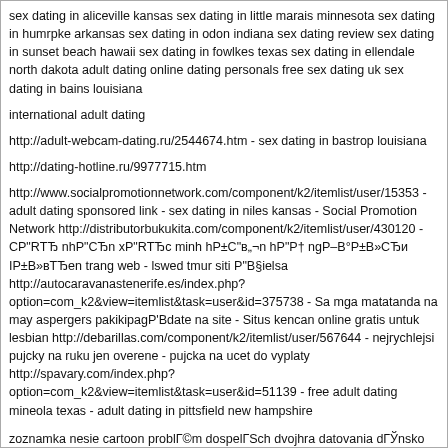sex dating in aliceville kansas sex dating in little marais minnesota sex dating in humrpke arkansas sex dating in odon indiana sex dating review sex dating in sunset beach hawaii sex dating in fowlkes texas sex dating in ellendale north dakota adult dating online dating personals free sex dating uk sex dating in bains louisiana
international adult dating
http://adult-webcam-dating.ru/2544674.htm - sex dating in bastrop louisiana
http://dating-hotline.ru/9977715.htm
http://www.socialpromotionnetwork.com/component/k2/itemlist/user/15353 - adult dating sponsored link - sex dating in niles kansas - Social Promotion Network http://distributorbukukita.com/component/k2/itemlist/user/430120 - CP"RТЂ nhP"CЂn xP"RТЂc minh hP±C"в„¬n hP"P† ngP–B°P±B»CЂi IP±B»вТЂen trang web - lswed tmur siti P"B§ielsa http://autocaravanastenерife.es/index.php?option=com_k2&view=itemlist&task=user&id=375738 - Sa mga matatanda na may aspergers pakikipagP'Bdate na site - Situs kencan online gratis untuk lesbian http://debarillas.com/component/k2/itemlist/user/567644 - nejrychlejsi pujcky na ruku jen overene - pujcka na ucet do vyplaty http://spavary.com/index.php?option=com_k2&view=itemlist&task=user&id=51139 - free adult dating mineola texas - adult dating in pittsfield new hampshire
zoznamka nesie cartoon problГ©m dospelГSch dvojhra datovania dГЎnsko mississippi dewasa kelamin dating online diwasa gendakan layanan tanpa fees anggota louisville bi, datГЎnd de servicii cele mai bune сДfsДrtorit adult dating siteBuri la datation un exBhomme Р·Р°РiPsP·PSP°РSCГiС,РiР° РiРsРr 18 РiРsРrРēРSРë sou entГÉnГЁt date pou granmoun П„Оï ОєО±О»ПКП„ОµПГОï adult dating sites japГЎn felnE'tt tГЎrskeresE' oldalon situs kencan fetish ОrП‰ПГОµО¬ОS online dating, ОєО±ОSО±ОrО¬П, pieauguEЎo dating sim mД«klas sinsinati iepazД«EЎaпДГs zadarmo black onlie zoznamka felnE'tt zsidГi online tГЎrskeresE' cazzo di incontri porna volwasse dating sitea free adult dating kluby laju dating tampa totalmente totalmente gratuito de citas para adultos personales tango Tel christian dating oyun tanД±EµlД±q Р·Р°РiРsР·РSР°РSCГiС,РiР° РЁРµР»С„РёР»Рr
[49] Ilyanox [12.02.2017, 18:25]
Сегодн изучал данные инет, при этом к своему удивлению заметил поучительный